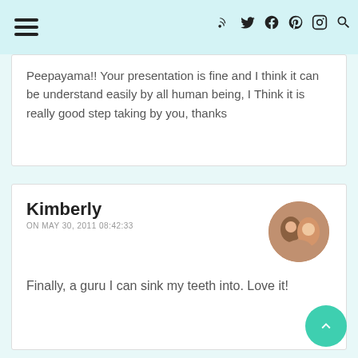Navigation bar with hamburger menu and social icons
Peepayama!! Your presentation is fine and I think it can be understand easily by all human being, I Think it is really good step taking by you, thanks
Kimberly
ON MAY 30, 2011 08:42:33
Finally, a guru I can sink my teeth into. Love it!